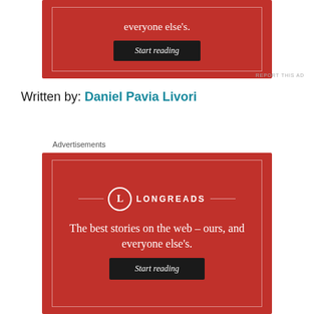[Figure (advertisement): Longreads advertisement banner (top, cropped) on red background showing 'everyone else's.' text and a black 'Start reading' button]
REPORT THIS AD
Written by: Daniel Pavia Livori
Advertisements
[Figure (advertisement): Longreads advertisement banner on red background with circle-L logo, tagline 'The best stories on the web — ours, and everyone else's.' and a black 'Start reading' button]